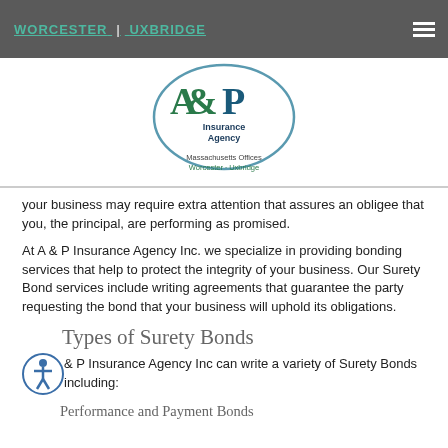WORCESTER | UXBRIDGE
[Figure (logo): A&P Insurance Agency logo — oval with green A&P mark and 'Insurance Agency' text, Massachusetts Offices Worcester · Uxbridge]
your business may require extra attention that assures an obligee that you, the principal, are performing as promised.
At A & P Insurance Agency Inc. we specialize in providing bonding services that help to protect the integrity of your business. Our Surety Bond services include writing agreements that guarantee the party requesting the bond that your business will uphold its obligations.
Types of Surety Bonds
A & P Insurance Agency Inc can write a variety of Surety Bonds including:
Performance and Payment Bonds